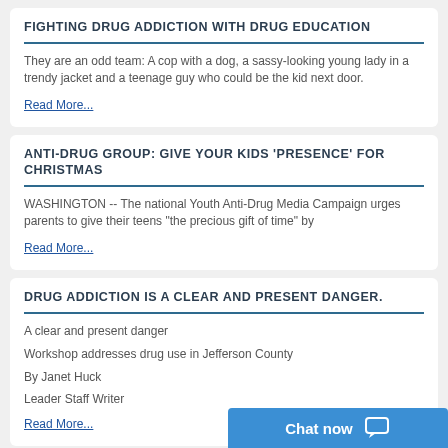FIGHTING DRUG ADDICTION WITH DRUG EDUCATION
They are an odd team: A cop with a dog, a sassy-looking young lady in a trendy jacket and a teenage guy who could be the kid next door.
Read More...
ANTI-DRUG GROUP: GIVE YOUR KIDS 'PRESENCE' FOR CHRISTMAS
WASHINGTON -- The national Youth Anti-Drug Media Campaign urges parents to give their teens "the precious gift of time" by
Read More...
DRUG ADDICTION IS A CLEAR AND PRESENT DANGER.
A clear and present danger
Workshop addresses drug use in Jefferson County
By Janet Huck
Leader Staff Writer
Read More...